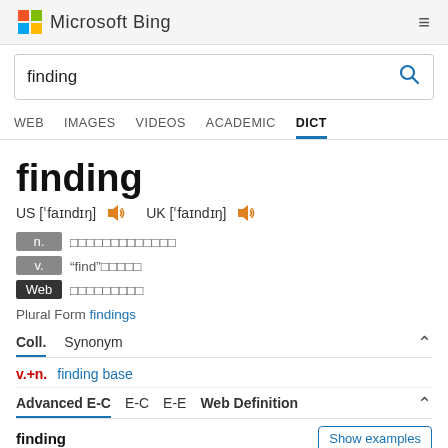Microsoft Bing
finding
WEB  IMAGES  VIDEOS  ACADEMIC  DICT
finding
US ['faɪndɪŋ]  UK ['faɪndɪŋ]
n. [definitions in Chinese]
v. "find"[conjugation in Chinese]
Web [definition in Chinese]
Plural Form: findings
Coll.  Synonym
v.+n.  finding base
Advanced E-C  E-C  E-E  Web Definition
finding  Show examples